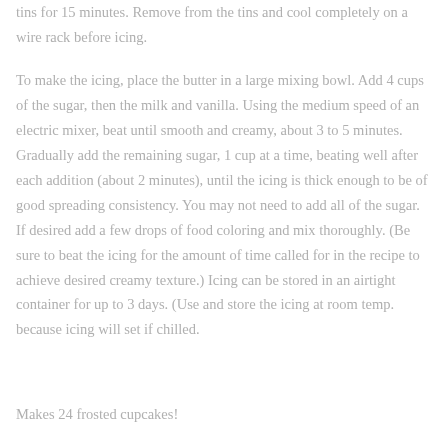tins for 15 minutes. Remove from the tins and cool completely on a wire rack before icing.
To make the icing, place the butter in a large mixing bowl. Add 4 cups of the sugar, then the milk and vanilla. Using the medium speed of an electric mixer, beat until smooth and creamy, about 3 to 5 minutes. Gradually add the remaining sugar, 1 cup at a time, beating well after each addition (about 2 minutes), until the icing is thick enough to be of good spreading consistency. You may not need to add all of the sugar. If desired add a few drops of food coloring and mix thoroughly. (Be sure to beat the icing for the amount of time called for in the recipe to achieve desired creamy texture.) Icing can be stored in an airtight container for up to 3 days. (Use and store the icing at room temp. because icing will set if chilled.
Makes 24 frosted cupcakes!